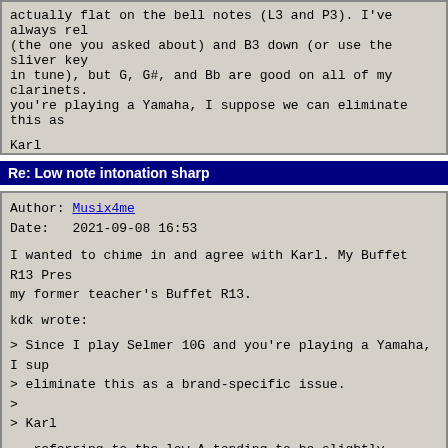actually flat on the bell notes (L3 and P3). I've always rel (the one you asked about) and B3 down (or use the sliver key in tune), but G, G#, and Bb are good on all of my clarinets. you're playing a Yamaha, I suppose we can eliminate this as

Karl
Re: Low note intonation sharp
Author: Musix4me
Date:   2021-09-08 16:53
I wanted to chime in and agree with Karl. My Buffet R13 Pres my former teacher's Buffet R13.

kdk wrote:

> Since I play Selmer 10G and you're playing a Yamaha, I sup
> eliminate this as a brand-specific issue.
>
> Karl

...referring to the low A tending to be slightly sharp.

As others have mentioned, I also sometimes add the low F# ke finger hovering closely over the low G.

Robert Moody
Musix4me